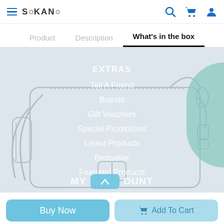SOKANO — navigation header with hamburger menu, search, cart, user icons
Product | Description | What's in the box
[Figure (screenshot): E-commerce product page screenshot showing a bag/luggage line drawing on a light blue-grey background, overlaid with a semi-transparent dropdown navigation menu listing: EXTRAS, Tell A Friend, Brands, Gift Vouchers, Special Promotions, Latest Products, Bestseller, Featured Products, MY ACCOUNT. A teal arc decoration appears on the right side.]
Buy Now
Add To Cart